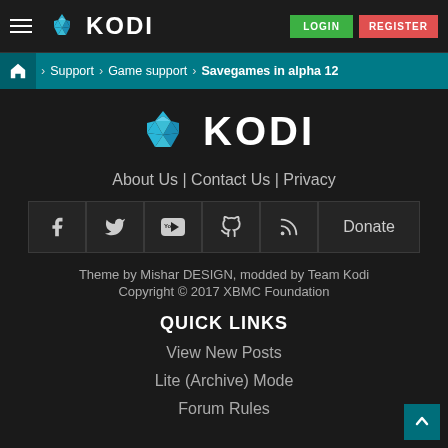KODI — LOGIN | REGISTER
Home > Support > Game support > Savegames in alpha 12
[Figure (logo): Kodi logo large with diamond gem icon and KODI wordmark in white on dark background]
About Us | Contact Us | Privacy
[Figure (infographic): Social media icon buttons: Facebook, Twitter, YouTube, GitHub, RSS, and Donate button]
Theme by Mishar DESIGN, modded by Team Kodi
Copyright © 2017 XBMC Foundation
QUICK LINKS
View New Posts
Lite (Archive) Mode
Forum Rules